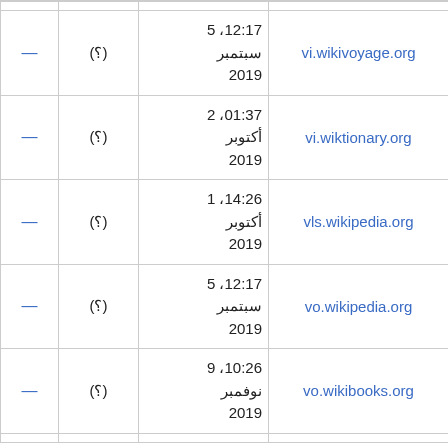| — | (?) | 12:17، 5
سبتمبر
2019 | vi.wikivoyage.org |
| — | (?) | 01:37، 2
أكتوبر
2019 | vi.wiktionary.org |
| — | (?) | 14:26، 1
أكتوبر
2019 | vls.wikipedia.org |
| — | (?) | 12:17، 5
سبتمبر
2019 | vo.wikipedia.org |
| — | (?) | 10:26، 9
نوفمبر
2019 | vo.wikibooks.org |